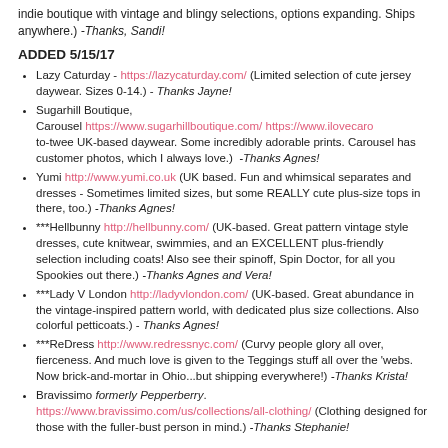indie boutique with vintage and blingy selections, options expanding. Ships anywhere.) -Thanks, Sandi!
ADDED 5/15/17
Lazy Caturday - https://lazycaturday.com/ (Limited selection of cute jersey daywear. Sizes 0-14.) - Thanks Jayne!
Sugarhill Boutique, Carousel https://www.sugarhillboutique.com/ https://www.ilovecaro to-twee UK-based daywear. Some incredibly adorable prints. Carousel has customer photos, which I always love.) -Thanks Agnes!
Yumi http://www.yumi.co.uk (UK based. Fun and whimsical separates and dresses - Sometimes limited sizes, but some REALLY cute plus-size tops in there, too.) -Thanks Agnes!
***Hellbunny http://hellbunny.com/ (UK-based. Great pattern vintage style dresses, cute knitwear, swimmies, and an EXCELLENT plus-friendly selection including coats! Also see their spinoff, Spin Doctor, for all you Spookies out there.) -Thanks Agnes and Vera!
***Lady V London http://ladyvlondon.com/ (UK-based. Great abundance in the vintage-inspired pattern world, with dedicated plus size collections. Also colorful petticoats.) -Thanks Agnes!
***ReDress http://www.redressnyc.com/ (Curvy people glory all over, fierceness. And much love is given to the Teggings stuff all over the 'webs. Now brick-and-mortar in Ohio...but shipping everywhere!) -Thanks Krista!
Bravissimo formerly Pepperberry. https://www.bravissimo.com/us/collections/all-clothing/ (Clothing designed for those with the fuller-bust person in mind.) -Thanks Stephanie!